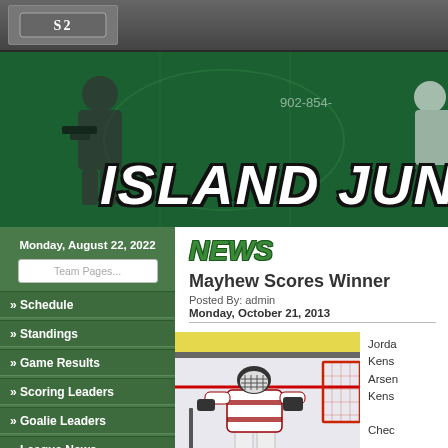[Figure (screenshot): Top navigation bar with logo]
[Figure (photo): Island Junior Hockey banner with players and green-tinted background]
Monday, August 22, 2022
» Schedule
» Standings
» Game Results
» Scoring Leaders
» Goalie Leaders
» League News
» Protected Lists
NEWS
Mayhew Scores Winner
Posted By: admin
Monday, October 21, 2013
[Figure (photo): Hockey player in white jersey on ice, goalie net visible on right]
Jorda Kens Arse Kens Check